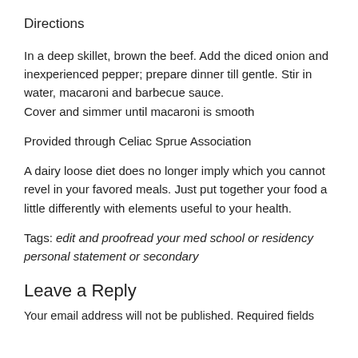Directions
In a deep skillet, brown the beef. Add the diced onion and inexperienced pepper; prepare dinner till gentle. Stir in water, macaroni and barbecue sauce.
Cover and simmer until macaroni is smooth
Provided through Celiac Sprue Association
A dairy loose diet does no longer imply which you cannot revel in your favored meals. Just put together your food a little differently with elements useful to your health.
Tags: edit and proofread your med school or residency personal statement or secondary
Leave a Reply
Your email address will not be published. Required fields